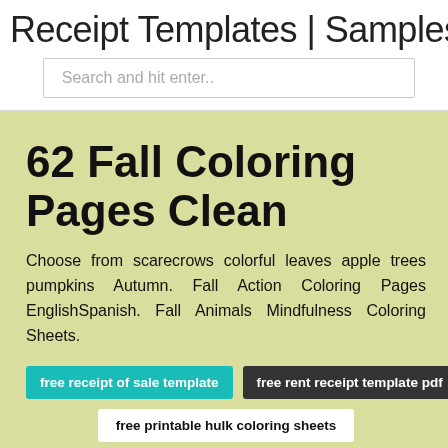Receipt Templates | Samples - PDF
Search and hit enter..
62 Fall Coloring Pages Clean
Choose from scarecrows colorful leaves apple trees pumpkins Autumn. Fall Action Coloring Pages EnglishSpanish. Fall Animals Mindfulness Coloring Sheets.
free receipt of sale template
free rent receipt template pdf
free printable hulk coloring sheets
general purpose receipt template
free template for receipts for payments